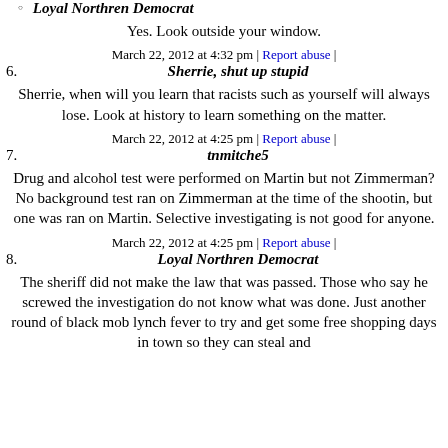Loyal Northren Democrat
Yes. Look outside your window.
March 22, 2012 at 4:32 pm | Report abuse |
6. Sherrie, shut up stupid
Sherrie, when will you learn that racists such as yourself will always lose. Look at history to learn something on the matter.
March 22, 2012 at 4:25 pm | Report abuse |
7. tnmitche5
Drug and alcohol test were performed on Martin but not Zimmerman? No background test ran on Zimmerman at the time of the shootin, but one was ran on Martin. Selective investigating is not good for anyone.
March 22, 2012 at 4:25 pm | Report abuse |
8. Loyal Northren Democrat
The sheriff did not make the law that was passed. Those who say he screwed the investigation do not know what was done. Just another round of black mob lynch fever to try and get some free shopping days in town so they can steal and